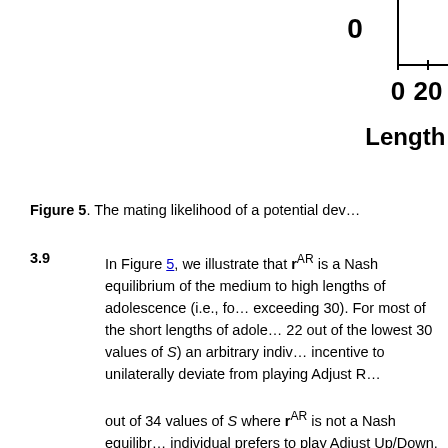[Figure (continuous-plot): Partial view of a chart showing a y-axis with tick mark at 0, an x-axis with tick marks at 0 and 20, and the x-axis label 'Length of' (truncated). This appears to be the bottom-right portion of Figure 5 showing mating likelihood vs length of adolescence.]
Figure 5. The mating likelihood of a potential dev…
3.9  In Figure 5, we illustrate that r^AR is a Nash equilibrium of the medium to high lengths of adolescence (i.e., fo… exceeding 30). For most of the short lengths of adole… 22 out of the lowest 30 values of S) an arbitrary indiv… incentive to unilaterally deviate from playing Adjust R… out of 34 values of S where r^AR is not a Nash equilibr… individual prefers to play Adjust Up/Down, while he/sh… Relative/2 in the remaining 28 instances.